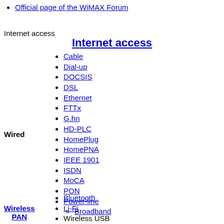Official page of the WiMAX Forum
Internet access
Internet access
Cable
Dial-up
DOCSIS
DSL
Ethernet
FTTx
G.hn
HD-PLC
HomePlug
HomePNA
IEEE 1901
ISDN
MoCA
PON
Power-line
Broadband
Wired
Bluetooth
Li-Fi
Wireless USB
Wireless PAN